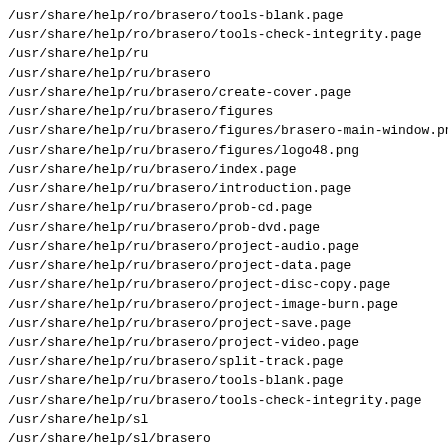/usr/share/help/ro/brasero/tools-blank.page
/usr/share/help/ro/brasero/tools-check-integrity.page
/usr/share/help/ru
/usr/share/help/ru/brasero
/usr/share/help/ru/brasero/create-cover.page
/usr/share/help/ru/brasero/figures
/usr/share/help/ru/brasero/figures/brasero-main-window.pn
/usr/share/help/ru/brasero/figures/logo48.png
/usr/share/help/ru/brasero/index.page
/usr/share/help/ru/brasero/introduction.page
/usr/share/help/ru/brasero/prob-cd.page
/usr/share/help/ru/brasero/prob-dvd.page
/usr/share/help/ru/brasero/project-audio.page
/usr/share/help/ru/brasero/project-data.page
/usr/share/help/ru/brasero/project-disc-copy.page
/usr/share/help/ru/brasero/project-image-burn.page
/usr/share/help/ru/brasero/project-save.page
/usr/share/help/ru/brasero/project-video.page
/usr/share/help/ru/brasero/split-track.page
/usr/share/help/ru/brasero/tools-blank.page
/usr/share/help/ru/brasero/tools-check-integrity.page
/usr/share/help/sl
/usr/share/help/sl/brasero
/usr/share/help/sl/brasero/create-cover.page
/usr/share/help/sl/brasero/figures
/usr/share/help/sl/brasero/figures/brasero-main-window.pn
/usr/share/help/sl/brasero/figures/logo48.png
/usr/share/help/sl/brasero/index.page
/usr/share/help/sl/brasero/introduction.page
/usr/share/help/sl/brasero/prob-cd.page